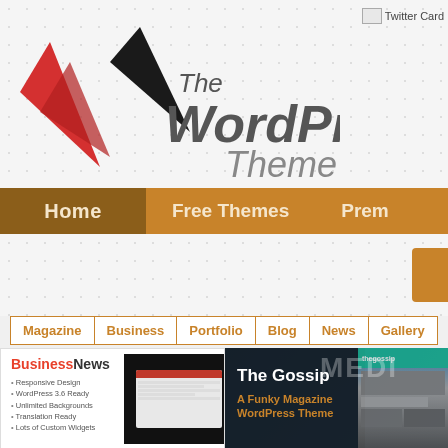[Figure (logo): The WordPress Theme logo with red and black geometric triangles on left and stylized 'The WordPress Theme' text]
[Figure (screenshot): Twitter Card image placeholder in top right corner]
Home   Free Themes   Prem...
Magazine   Business   Portfolio   Blog   News   Gallery
[Figure (screenshot): BusinessNews WordPress theme card showing red/dark title, feature list, and device mockup screenshot]
[Figure (screenshot): The Gossip - A Funky Magazine WordPress Theme card with dark background and orange subtitle]